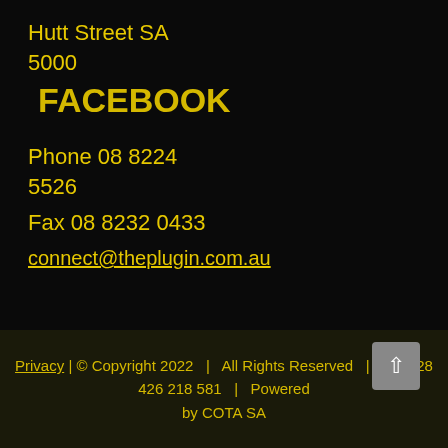Hutt Street SA 5000
FACEBOOK
Phone 08 8224 5526
Fax 08 8232 0433
connect@theplugin.com.au
Privacy | © Copyright 2022 | All Rights Reserved | ABN 28 426 218 581 | Powered by COTA SA